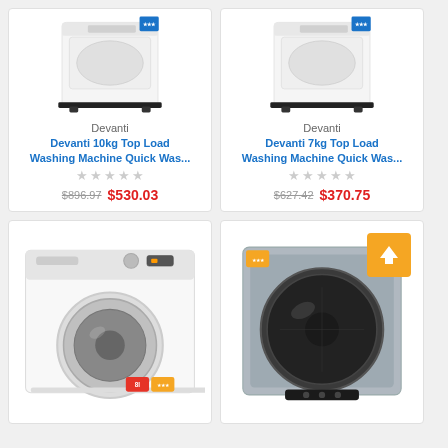[Figure (photo): White top-load washing machine with energy rating sticker, Devanti brand]
Devanti
Devanti 10kg Top Load Washing Machine Quick Was...
★★★★★ (no ratings)
$896.97  $530.03
[Figure (photo): White top-load washing machine with energy rating sticker, Devanti brand]
Devanti
Devanti 7kg Top Load Washing Machine Quick Was...
★★★★★ (no ratings)
$627.42  $370.75
[Figure (photo): White front-load washing machine, Devanti brand, energy rating stickers visible at bottom]
[Figure (photo): Silver wall-mounted dryer with large black circular door, orange upload badge overlay, energy rating sticker]